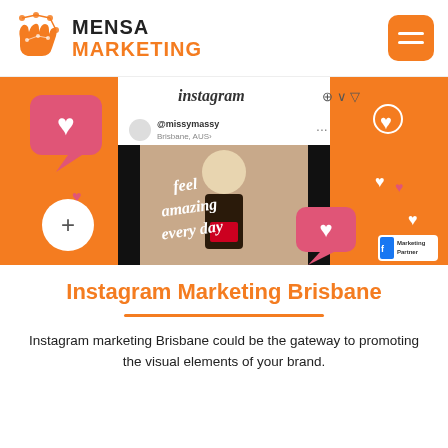[Figure (logo): Mensa Marketing logo with circuit-board hand icon and text MENSA MARKETING in black and orange]
[Figure (screenshot): Instagram marketing promotional image showing a woman with curly hair and text 'feel amazing every day', surrounded by heart icons and Instagram interface elements, on orange background. @missymassy Brisbane, AUS profile shown.]
Instagram Marketing Brisbane
Instagram marketing Brisbane could be the gateway to promoting the visual elements of your brand.